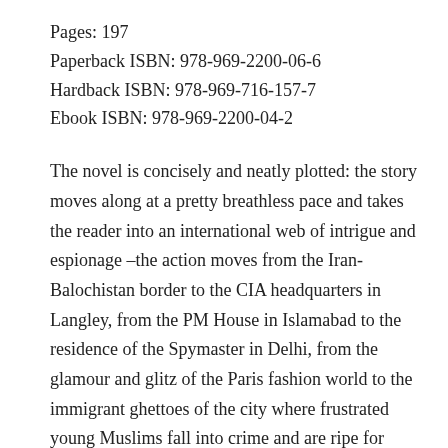Pages: 197
Paperback ISBN: 978-969-2200-06-6
Hardback ISBN: 978-969-716-157-7
Ebook ISBN: 978-969-2200-04-2
The novel is concisely and neatly plotted: the story moves along at a pretty breathless pace and takes the reader into an international web of intrigue and espionage –the action moves from the Iran-Balochistan border to the CIA headquarters in Langley, from the PM House in Islamabad to the residence of the Spymaster in Delhi, from the glamour and glitz of the Paris fashion world to the immigrant ghettoes of the city where frustrated young Muslims fall into crime and are ripe for radicalisation. And along the way in this dizzying journey the reader gets some interesting glimpses of the realities and the sort of ruthless expediency which actually determine the survival or interruption of the democratic and peace processes in